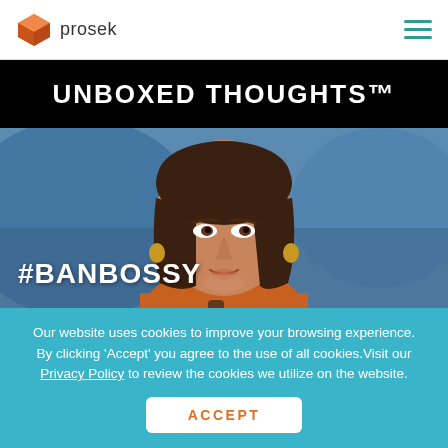[Figure (logo): Prosek logo: orange cube icon and 'prosek' text in gray]
[Figure (illustration): Hamburger menu icon (three teal horizontal lines) in top right]
UNBOXED THOUGHTS™
[Figure (photo): Photo of a woman speaking at a podium, with '#BANBOSSY' text overlaid at bottom left]
Our website uses cookies to improve your browsing experience. By clicking 'Accept' you agree to the use of all cookies.Visit our Privacy Policy to review the cookies we utilize on the website.
ACCEPT